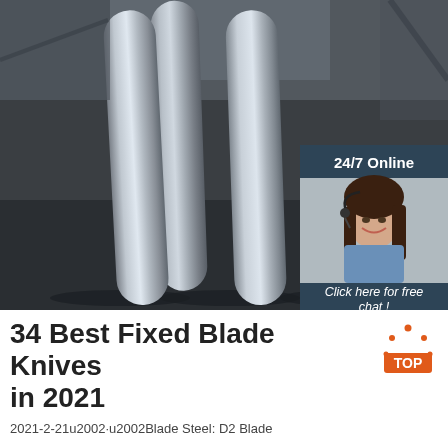[Figure (photo): Photo of three steel/metal cylindrical rods lying diagonally on a dark workshop floor, with an overlay advertisement box showing '24/7 Online', a customer service representative with headset, 'Click here for free chat!' text, and an orange 'QUOTATION' button]
34 Best Fixed Blade Knives in 2021
2021-2-21u2002·u2002Blade Steel: D2 Blade